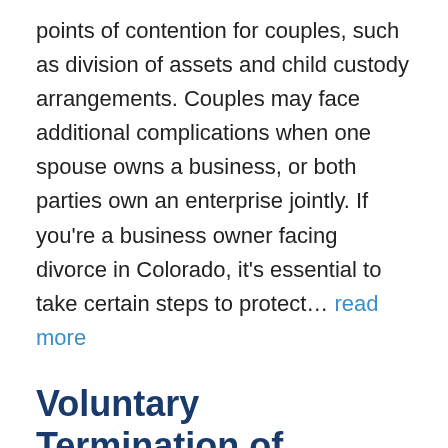points of contention for couples, such as division of assets and child custody arrangements. Couples may face additional complications when one spouse owns a business, or both parties own an enterprise jointly. If you're a business owner facing divorce in Colorado, it's essential to take certain steps to protect… read more
Voluntary Termination of Parental Rights
Posted in Child Custody on June 28, 2018